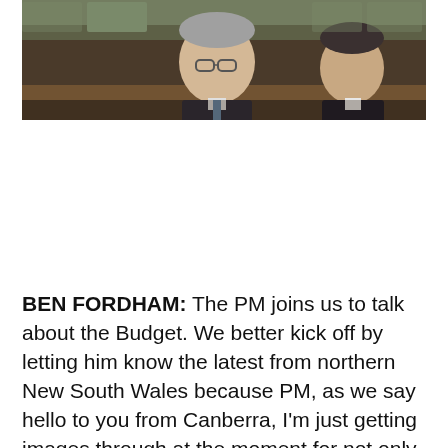[Figure (photo): Two men in suits seated, appearing to be in a parliamentary chamber with green seats visible in the background. The image shows them from the shoulders up, one with grey hair wearing glasses.]
BEN FORDHAM: The PM joins us to talk about the Budget. We better kick off by letting him know the latest from northern New South Wales because PM, as we say hello to you from Canberra, I'm just getting images through at the moment for not only Lismore, but also Byron and Suffolk, where you've got cars floating down the streets...